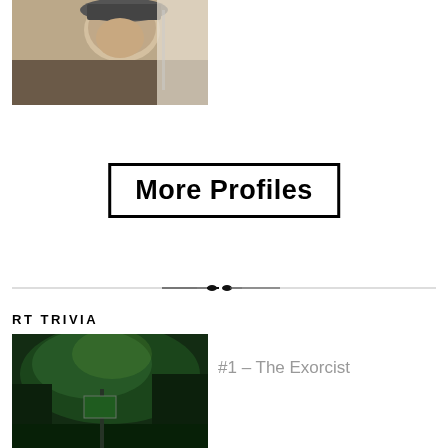[Figure (photo): Black and white photo of a person wearing a hat, looking upward, possibly a film still or portrait]
More Profiles
[Figure (illustration): Decorative horizontal divider with ornamental center design]
RT TRIVIA
[Figure (photo): Green-tinted atmospheric photo of a foggy city street at night with a street sign, appearing to be from The Exorcist]
#1 – The Exorcist